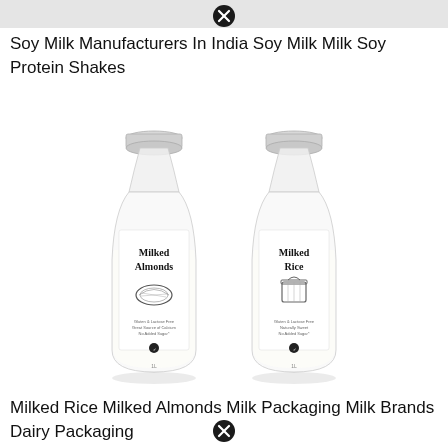Soy Milk Manufacturers In India Soy Milk Milk Soy Protein Shakes
[Figure (photo): Two glass milk bottles side by side. Left bottle has a white label reading 'Milked Almonds' with an almond illustration and text 'Gluten & Lactose Free, Great Source of Calcium, No Added Sugar'. Right bottle has a white label reading 'Milked Rice' with a jar illustration and text 'Gluten & Lactose Free, Naturally Sweet, No Added Sugar'. Both bottles contain white liquid and have silver caps.]
Milked Rice Milked Almonds Milk Packaging Milk Brands Dairy Packaging